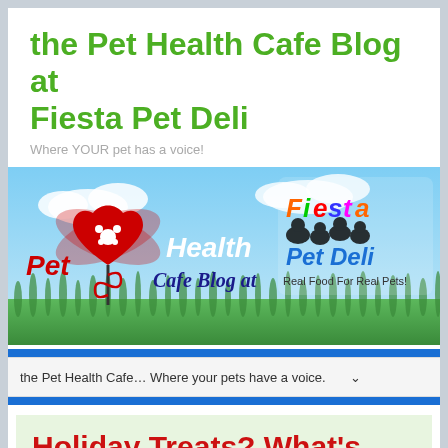the Pet Health Cafe Blog at Fiesta Pet Deli
Where YOUR pet has a voice!
[Figure (illustration): Pet Health Cafe Blog at Fiesta Pet Deli banner image showing pet health caduceus logo with heart, grass, blue sky, and Fiesta Pet Deli colorful logo with cats and dogs silhouettes. Tagline: Real Food For Real Pets!]
the Pet Health Cafe… Where your pets have a voice.
Holiday Treats? What's The Best Choice For Your Pet?